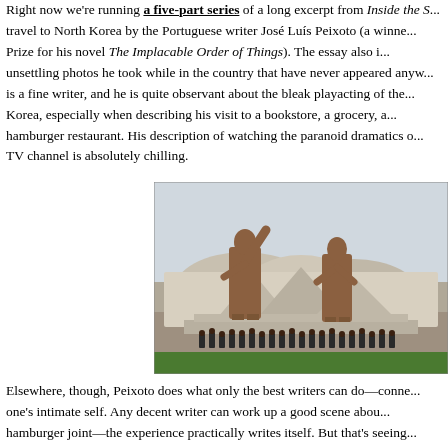Right now we're running a five-part series of a long excerpt from Inside the S... travel to North Korea by the Portuguese writer José Luís Peixoto (a winner... Prize for his novel The Implacable Order of Things). The essay also i... unsettling photos he took while in the country that have never appeared anyw... is a fine writer, and he is quite observant about the bleak playacting of the... Korea, especially when describing his visit to a bookstore, a grocery, a... hamburger restaurant. His description of watching the paranoid dramatics o... TV channel is absolutely chilling.
[Figure (photo): Two large bronze statues of North Korean leaders (Kim Il-sung with arm raised and Kim Jong-il) on a monument base, with a group of military personnel standing in front of the statues. Background shows a mosaic mural of mountains.]
Elsewhere, though, Peixoto does what only the best writers can do—conne... one's intimate self. Any decent writer can work up a good scene abou... hamburger joint—the experience practically writes itself. But that's seeing... keeping the North Koreans firmly in place as an Other. And certainly, all t... claims of the country wear him down over the course of his trip. But in th... Peixoto describes calling his family from the hotel, and now we see a first-ra... revealing what the best literature always does: making transparent what had b...